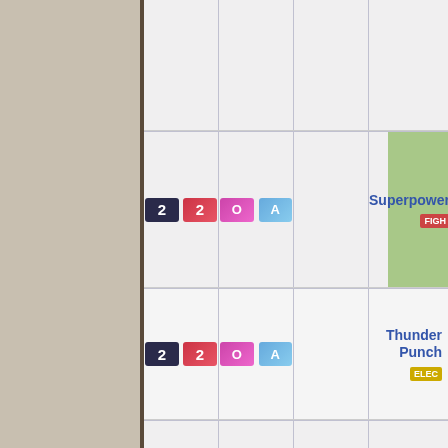| V | XY OA SM UU | Move | Type |
| --- | --- | --- | --- |
| 22 (OA) |  | Superpower | FIGHTING |
| 22 (OA) |  | Thunder Punch | ELECTRIC |
| (OA) |  | Zen Headbutt | PSYCHIC |
| V XY OA SM UU |  | Move | Type |
Machine: Can be taught at any time by using a TM or HM.